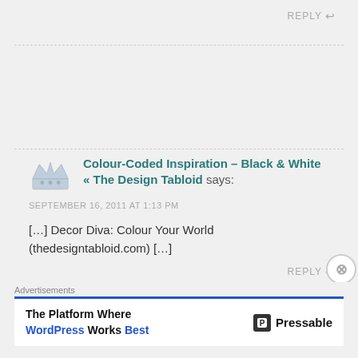REPLY ↩
Colour-Coded Inspiration – Black & White « The Design Tabloid says:
SEPTEMBER 16, 2011 AT 1:13 PM
[…] Decor Diva: Colour Your World (thedesigntabloid.com) […]
REPLY ↩
Advertisements
The Platform Where WordPress Works Best   Pressable